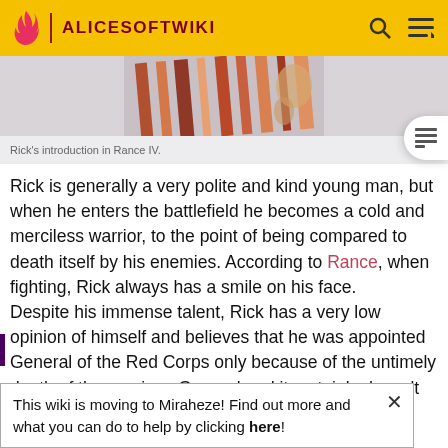ALICESOFTWIKI
[Figure (illustration): Partial illustration showing colorful diagonal lines and a hand/arm, representing Rick's introduction in Rance IV]
Rick's introduction in Rance IV.
Rick is generally a very polite and kind young man, but when he enters the battlefield he becomes a cold and merciless warrior, to the point of being compared to death itself by his enemies. According to Rance, when fighting, Rick always has a smile on his face. Despite his immense talent, Rick has a very low opinion of himself and believes that he was appointed General of the Red Corps only because of the untimely death of the previous General and it certainly doesn't help that other
This wiki is moving to Miraheze! Find out more and what you can do to help by clicking here!